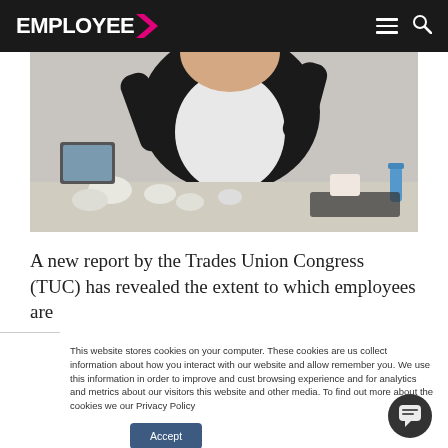EMPLOYEE >
[Figure (photo): Person in business attire at a desk surrounded by crumpled paper, appearing stressed]
A new report by the Trades Union Congress (TUC) has revealed the extent to which employees are
This website stores cookies on your computer. These cookies are us collect information about how you interact with our website and allow remember you. We use this information in order to improve and cust browsing experience and for analytics and metrics about our visitors this website and other media. To find out more about the cookies we our Privacy Policy
Accept